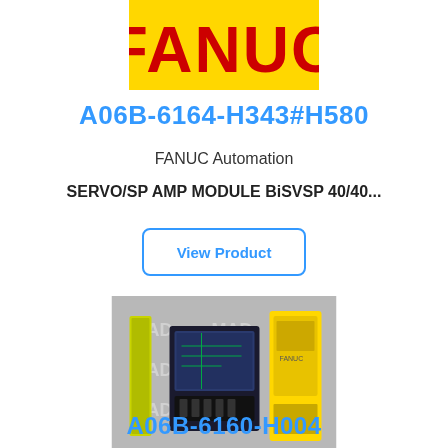[Figure (logo): FANUC logo — red text 'FANUC' on yellow background]
A06B-6164-H343#H580
FANUC Automation
SERVO/SP AMP MODULE BiSVSP 40/40...
View Product
[Figure (photo): Photo of FANUC servo amplifier modules — yellow and black industrial components against a gray background with watermark 'MAD']
A06B-6160-H004